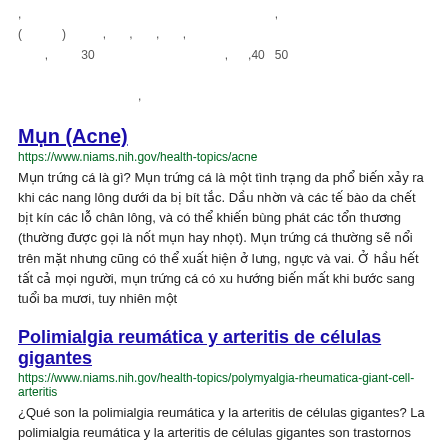, ( ) , , , , , , 30 , , 40 50 ,
Mụn (Acne)
https://www.niams.nih.gov/health-topics/acne
Mụn trứng cá là gì? Mụn trứng cá là một tình trạng da phổ biến xảy ra khi các nang lông dưới da bị bít tắc. Dầu nhờn và các tế bào da chết bịt kín các lỗ chân lông, và có thể khiến bùng phát các tổn thương (thường được gọi là nốt mụn hay nhọt). Mụn trứng cá thường sẽ nổi trên mặt nhưng cũng có thể xuất hiện ở lưng, ngực và vai. Ở hầu hết tất cả mọi người, mụn trứng cá có xu hướng biến mất khi bước sang tuổi ba mươi, tuy nhiên một
Polimialgia reumática y arteritis de células gigantes
https://www.niams.nih.gov/health-topics/polymyalgia-rheumatica-giant-cell-arteritis
¿Qué son la polimialgia reumática y la arteritis de células gigantes? La polimialgia reumática y la arteritis de células gigantes son trastornos inflamatorios estrechamente relacionados. Algunas personas